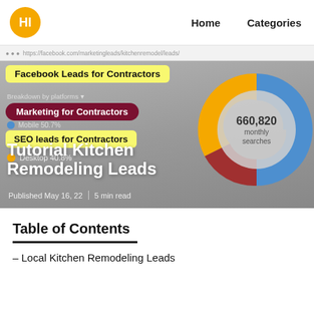HI | Home | Categories
[Figure (screenshot): Hero image showing a donut chart with 660,820 monthly searches label, overlaid with highlighted tags: 'Facebook Leads for Contractors', 'Marketing for Contractors', 'SEO leads for Contractors', desktop/mobile breakdown labels, and the article title 'Tutorial Kitchen Remodeling Leads' with metadata 'Published May 16, 22 | 5 min read']
Table of Contents
– Local Kitchen Remodeling Leads